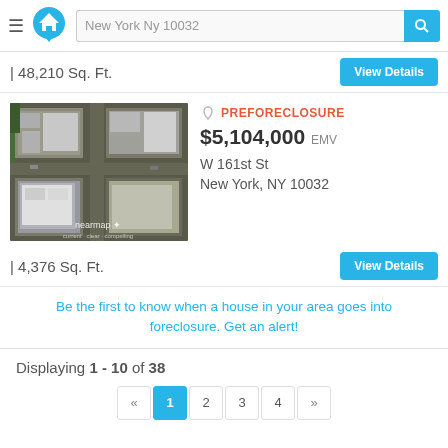[Figure (screenshot): App header with hamburger menu, house logo, search bar showing 'New York Ny 10032', and blue search button]
| 48,210 Sq. Ft.
View Details
[Figure (photo): Aerial/satellite image of a building block in New York with nearmap watermark]
PREFORECLOSURE
$5,104,000 EMV
W 161st St
New York, NY 10032
| 4,376 Sq. Ft.
View Details
Be the first to know when a house in your area goes into foreclosure. Get an alert!
Displaying 1 - 10 of 38
« 1 2 3 4 »